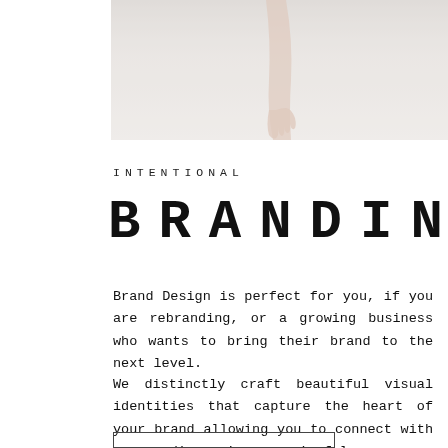[Figure (photo): Partial photograph of a person in a white dress, showing torso and hand, cropped at top of the page]
INTENTIONAL
BRANDING
Brand Design is perfect for you, if you are rebranding, or a growing business who wants to bring their brand to the next level.
We distinctly craft beautiful visual identities that capture the heart of your brand allowing you to connect with your audience in a meaningful way.